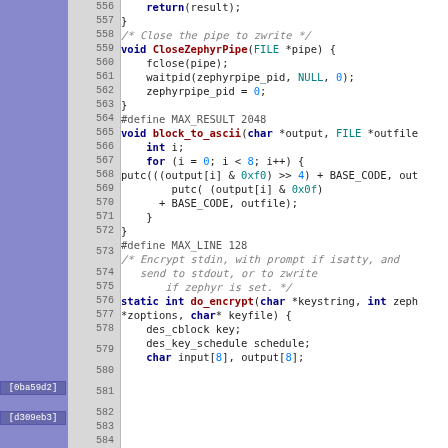[Figure (screenshot): Source code listing showing C code lines 556-584, with line numbers, syntax highlighting, and two annotation labels [0ba59d2] and [d309eb3] in the left sidebar. Code includes functions CloseZephyrPipe, block_to_ascii, and do_encrypt, plus #define directives and comments.]